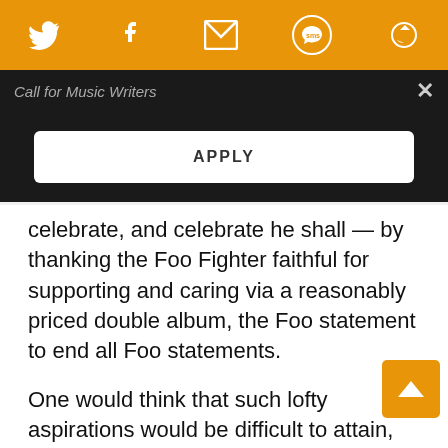[Figure (screenshot): Orange social sharing bar with Twitter, Facebook, email, SMS, and another icon]
Call for Music Writers
[Figure (screenshot): Dark overlay with APPLY button in white rounded rectangle]
celebrate, and celebrate he shall — by thanking the Foo Fighter faithful for supporting and caring via a reasonably priced double album, the Foo statement to end all Foo statements.
One would think that such lofty aspirations would be difficult to attain, but the truth is, seriously solid Foo Fighters albums have been in pretty short supply since Grohl started the band with little more than a name and a pile of instruments.